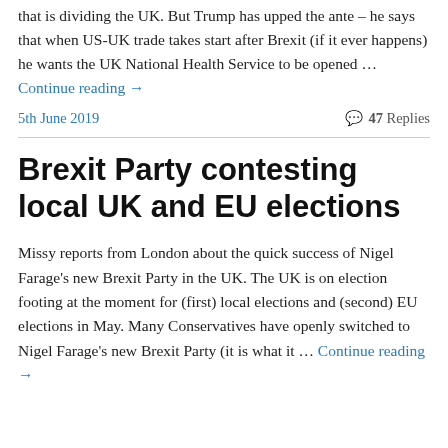that is dividing the UK. But Trump has upped the ante – he says that when US-UK trade takes start after Brexit (if it ever happens) he wants the UK National Health Service to be opened … Continue reading →
5th June 2019
47 Replies
Brexit Party contesting local UK and EU elections
Missy reports from London about the quick success of Nigel Farage's new Brexit Party in the UK. The UK is on election footing at the moment for (first) local elections and (second) EU elections in May. Many Conservatives have openly switched to Nigel Farage's new Brexit Party (it is what it … Continue reading →